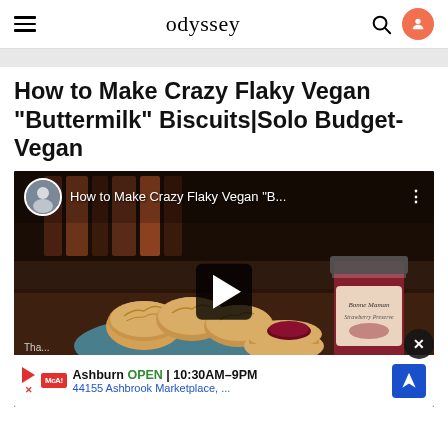odyssey
How to Make Crazy Flaky Vegan "Buttermilk" Biscuits|Solo Budget-Vegan
[Figure (screenshot): Embedded YouTube video thumbnail showing a plate of flaky vegan biscuits with a jar of jam on a wooden table. Video title overlay reads 'How to Make Crazy Flaky Vegan "B...' with a channel avatar and play button. An ad banner at the bottom shows McAlister's Deli location info: Ashburn OPEN 10:30AM-9PM, 44155 Ashbrook Marketplace.]